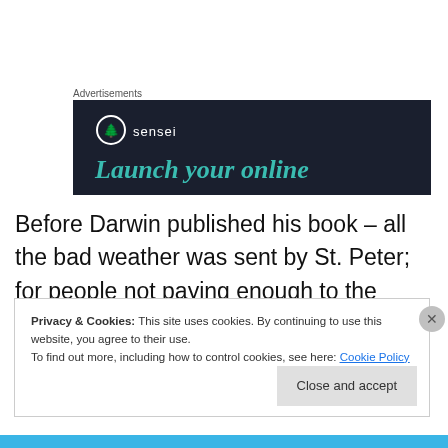Advertisements
[Figure (illustration): Dark navy advertisement banner for 'sensei' with logo circle containing a tree icon and tagline 'Launch your online']
Before Darwin published his book – all the bad weather was sent by St. Peter; for people not paying enough to the church, too many illegitimate pregnancies – after, some
Privacy & Cookies: This site uses cookies. By continuing to use this website, you agree to their use.
To find out more, including how to control cookies, see here: Cookie Policy
Close and accept